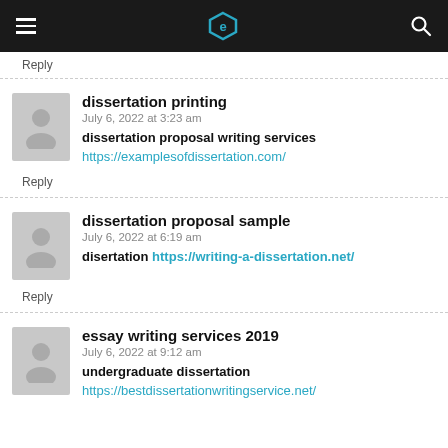Header with logo and navigation
Reply
dissertation printing
July 6, 2022 at 3:23 am
dissertation proposal writing services
https://examplesofdissertation.com/
Reply
dissertation proposal sample
July 6, 2022 at 6:19 am
disertation https://writing-a-dissertation.net/
Reply
essay writing services 2019
July 6, 2022 at 9:12 am
undergraduate dissertation
https://bestdissertationwritingservice.net/